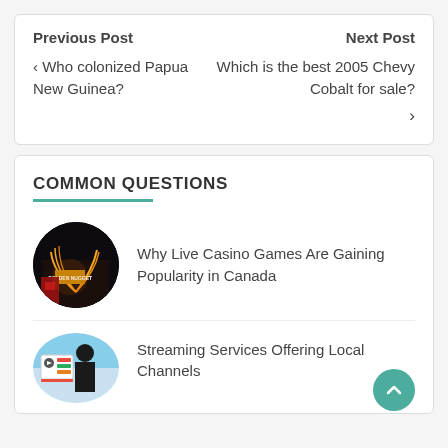Previous Post
Next Post
‹  Who colonized Papua New Guinea?
Which is the best 2005 Chevy Cobalt for sale?  ›
COMMON QUESTIONS
Why Live Casino Games Are Gaining Popularity in Canada
[Figure (photo): Circular thumbnail of a casino with neon lights (Golden Nugget casino exterior at night)]
Streaming Services Offering Local Channels
[Figure (photo): Circular thumbnail showing a streaming service illustration with a person and video player interface]